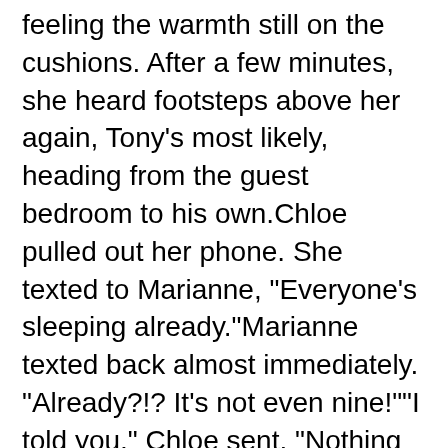feeling the warmth still on the cushions. After a few minutes, she heard footsteps above her again, Tony's most likely, heading from the guest bedroom to his own.Chloe pulled out her phone. She texted to Marianne, "Everyone's sleeping already."Marianne texted back almost immediately. "Already?!? It's not even nine!""I told you," Chloe sent. "Nothing happening here.""Did you get to talk to him at least?""Yes… he's so funny. I was laughing so hard at dinner.""LOL. Send me his pic!"Chloe watched Tom Hanks on the screen for a few minutes. She texted, "I didn't get a pic of him. I'll get one in the morning.""They're leaving early?" Marianne sent back."I'll wake up to say goodbye," Chloe sent. She gazed at the phone, waiting to see if Marianne would reply, but the phone